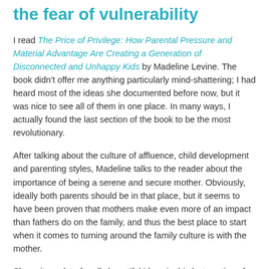the fear of vulnerability
I read The Price of Privilege: How Parental Pressure and Material Advantage Are Creating a Generation of Disconnected and Unhappy Kids by Madeline Levine. The book didn't offer me anything particularly mind-shattering; I had heard most of the ideas she documented before now, but it was nice to see all of them in one place. In many ways, I actually found the last section of the book to be the most revolutionary.
After talking about the culture of affluence, child development and parenting styles, Madeline talks to the reader about the importance of being a serene and secure mother. Obviously, ideally both parents should be in that place, but it seems to have been proven that mothers make even more of an impact than fathers do on the family, and thus the best place to start when it comes to turning around the family culture is with the mother.
She writes a lot of really beautiful ideas in this last section of the book, but the one that spoke the most to me was the